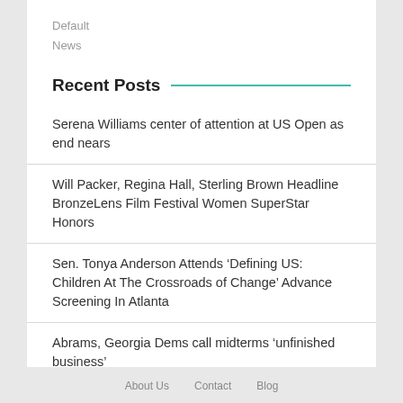Default
News
Recent Posts
Serena Williams center of attention at US Open as end nears
Will Packer, Regina Hall, Sterling Brown Headline BronzeLens Film Festival Women SuperStar Honors
Sen. Tonya Anderson Attends ‘Defining US: Children At The Crossroads of Change’ Advance Screening In Atlanta
Abrams, Georgia Dems call midterms ‘unfinished business’
About Us   Contact   Blog